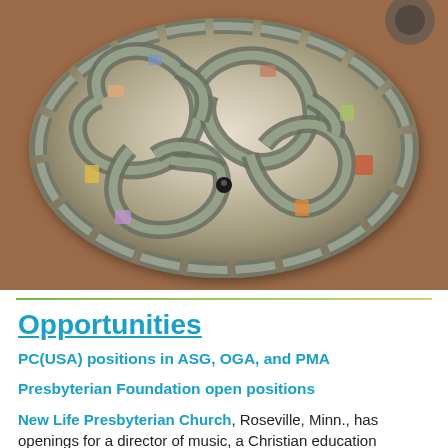[Figure (photo): Celtic knot artwork displayed on a wooden surface, showing an intricate interlaced pattern with colorful imagery embedded within the knot work, photographed from above.]
Opportunities
PC(USA) positions in ASG, OGA, and PMA
Presbyterian Foundation open positions
New Life Presbyterian Church, Roseville, Minn., has openings for a director of music, a Christian education coordinator, and an administrative